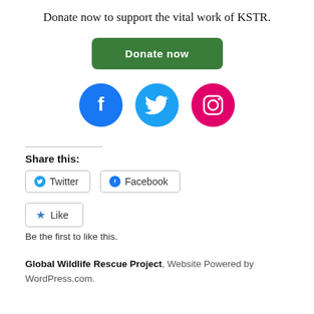Donate now to support the vital work of KSTR.
[Figure (other): Green 'Donate now' button]
[Figure (other): Social media icons: Facebook (blue circle with f), Twitter (light blue circle with bird), Instagram (pink/magenta circle with camera)]
Share this:
[Figure (other): Twitter share button with bird icon]
[Figure (other): Facebook share button with f icon]
[Figure (other): Like button with blue star icon]
Be the first to like this.
Global Wildlife Rescue Project, Website Powered by WordPress.com.